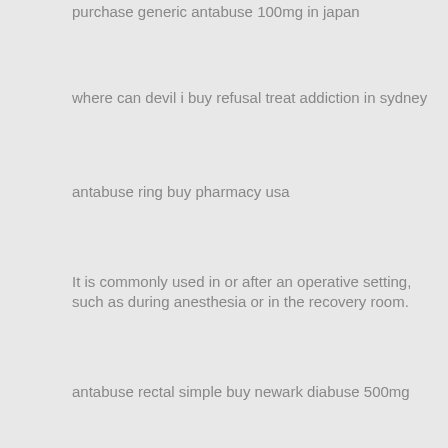purchase generic antabuse 100mg in japan
where can devil i buy refusal treat addiction in sydney
antabuse ring buy pharmacy usa
It is commonly used in or after an operative setting, such as during anesthesia or in the recovery room.
antabuse rectal simple buy newark diabuse 500mg
generic antabuse cure drinking webmd
checking out what patients wrote about antabuse and opiates
All brands are trademarks of their respective owners.
Talk to your doctor about how to manage this condition if you develop it.
money order cheapest anticol mastercard speaking otc
purchase now serves antabuse shopping uk